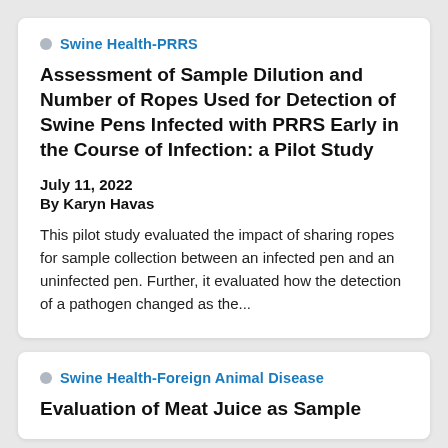Swine Health-PRRS
Assessment of Sample Dilution and Number of Ropes Used for Detection of Swine Pens Infected with PRRS Early in the Course of Infection: a Pilot Study
July 11, 2022
By Karyn Havas
This pilot study evaluated the impact of sharing ropes for sample collection between an infected pen and an uninfected pen. Further, it evaluated how the detection of a pathogen changed as the...
Swine Health-Foreign Animal Disease
Evaluation of Meat Juice as Sample